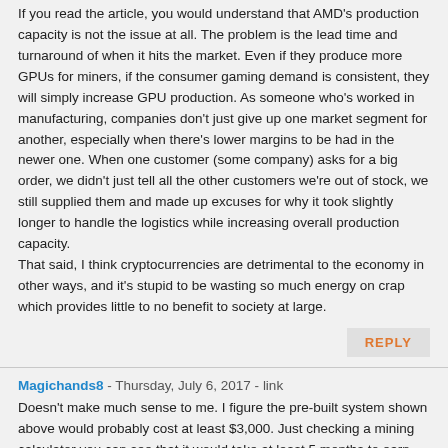If you read the article, you would understand that AMD's production capacity is not the issue at all. The problem is the lead time and turnaround of when it hits the market. Even if they produce more GPUs for miners, if the consumer gaming demand is consistent, they will simply increase GPU production. As someone who's worked in manufacturing, companies don't just give up one market segment for another, especially when there's lower margins to be had in the newer one. When one customer (some company) asks for a big order, we didn't just tell all the other customers we're out of stock, we still supplied them and made up excuses for why it took slightly longer to handle the logistics while increasing overall production capacity. That said, I think cryptocurrencies are detrimental to the economy in other ways, and it's stupid to be wasting so much energy on crap which provides little to no benefit to society at large.
REPLY
Magichands8 - Thursday, July 6, 2017 - link
Doesn't make much sense to me. I figure the pre-built system shown above would probably cost at least $3,000. Just checking a mining calculator you can see that it would take at least 5 months to earn back the money it cost to buy the system. And all the while you get the benefits of diminishing returns as the mining difficulty